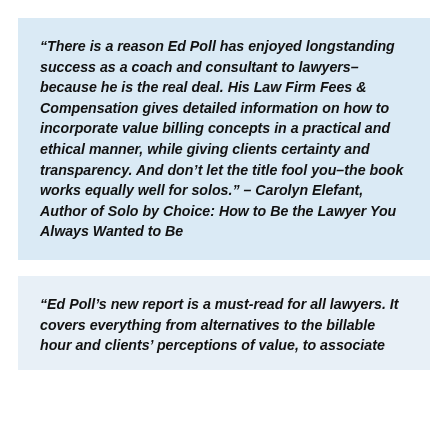“There is a reason Ed Poll has enjoyed longstanding success as a coach and consultant to lawyers–because he is the real deal. His Law Firm Fees & Compensation gives detailed information on how to incorporate value billing concepts in a practical and ethical manner, while giving clients certainty and transparency. And don’t let the title fool you–the book works equally well for solos.” – Carolyn Elefant, Author of Solo by Choice: How to Be the Lawyer You Always Wanted to Be
“Ed Poll’s new report is a must-read for all lawyers. It covers everything from alternatives to the billable hour and clients’ perceptions of value, to associate